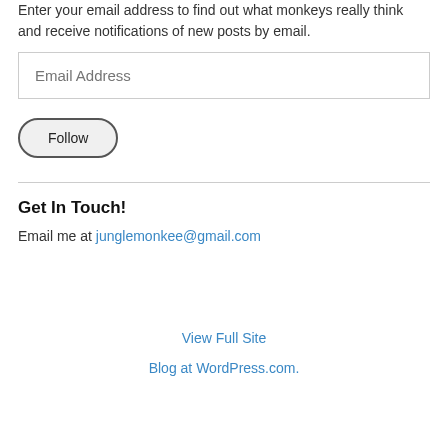Enter your email address to find out what monkeys really think and receive notifications of new posts by email.
Email Address
Follow
Get In Touch!
Email me at junglemonkee@gmail.com
View Full Site
Blog at WordPress.com.